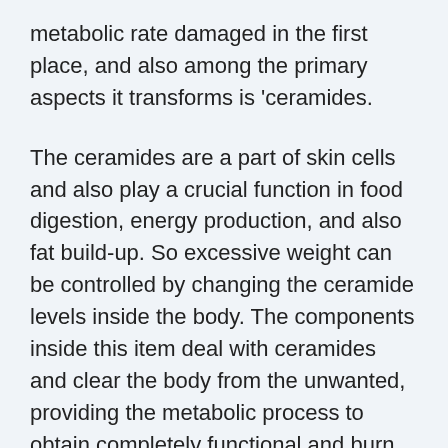metabolic rate damaged in the first place, and also among the primary aspects it transforms is 'ceramides.
The ceramides are a part of skin cells and also play a crucial function in food digestion, energy production, and also fat build-up. So excessive weight can be controlled by changing the ceramide levels inside the body. The components inside this item deal with ceramides and clear the body from the unwanted, providing the metabolic process to obtain completely functional and burn the fat acquired from the food.
When all of these calories are used to create power, there is little to no chance of fat buildup.